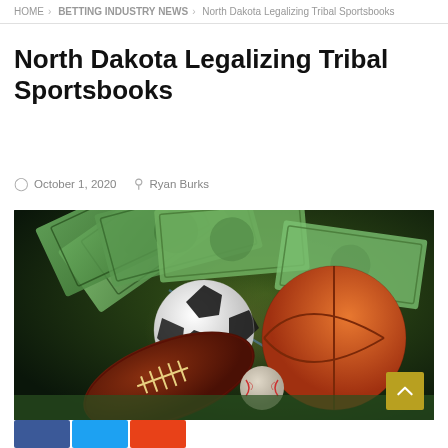HOME > BETTING INDUSTRY NEWS > North Dakota Legalizing Tribal Sportsbooks
North Dakota Legalizing Tribal Sportsbooks
October 1, 2020  Ryan Burks
[Figure (photo): Sports betting themed image showing a football, soccer ball, basketball, baseball, and US dollar bills fanned out on a green surface with dramatic lighting.]